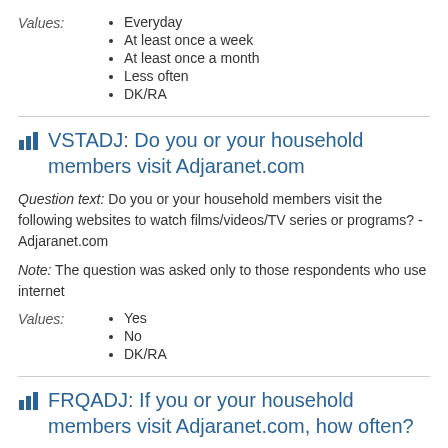Values:
Everyday
At least once a week
At least once a month
Less often
DK/RA
VSTADJ: Do you or your household members visit Adjaranet.com
Question text: Do you or your household members visit the following websites to watch films/videos/TV series or programs? - Adjaranet.com
Note: The question was asked only to those respondents who use internet
Values:
Yes
No
DK/RA
FRQADJ: If you or your household members visit Adjaranet.com, how often?